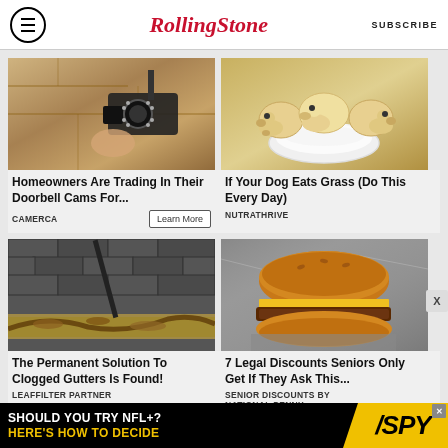Rolling Stone | SUBSCRIBE
[Figure (photo): Security camera mounted on a stone wall]
Homeowners Are Trading In Their Doorbell Cams For...
CAMERCA  [Learn More button]
[Figure (photo): Three golden retriever puppies eating from a white plate]
If Your Dog Eats Grass (Do This Every Day)
NUTRATHRIVE
[Figure (photo): Clogged roof gutter with debris being cleaned]
The Permanent Solution To Clogged Gutters Is Found!
LEAFFILTER PARTNER
[Figure (photo): Double cheeseburger wrapped in foil]
7 Legal Discounts Seniors Only Get If They Ask This...
SENIOR DISCOUNTS BY NATIONAL PENNY
[Figure (infographic): Bottom banner ad: SHOULD YOU TRY NFL+? HERE'S HOW TO DECIDE — SPY logo]